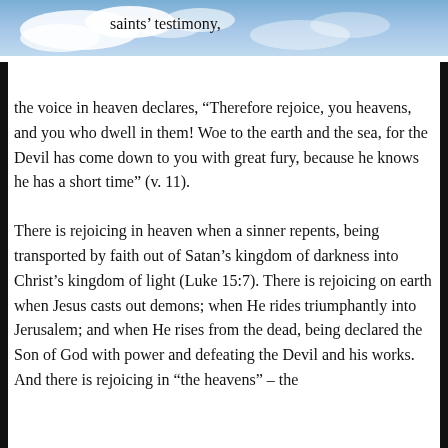[Figure (photo): Sky with clouds, blue sky background photo.]
saints’ testimony, the voice in heaven declares, “Therefore rejoice, you heavens, and you who dwell in them! Woe to the earth and the sea, for the Devil has come down to you with great fury, because he knows he has a short time” (v. 11).
There is rejoicing in heaven when a sinner repents, being transported by faith out of Satan’s kingdom of darkness into Christ’s kingdom of light (Luke 15:7). There is rejoicing on earth when Jesus casts out demons; when He rides triumphantly into Jerusalem; and when He rises from the dead, being declared the Son of God with power and defeating the Devil and his works. And there is rejoicing in “the heavens” – the